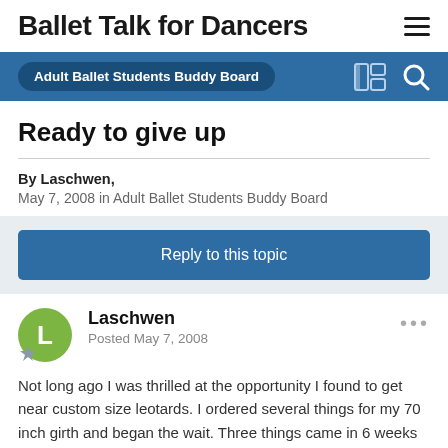Ballet Talk for Dancers
Adult Ballet Students Buddy Board
Ready to give up
By Laschwen, May 7, 2008 in Adult Ballet Students Buddy Board
Reply to this topic
Laschwen
Posted May 7, 2008
Not long ago I was thrilled at the opportunity I found to get near custom size leotards. I ordered several things for my 70 inch girth and began the wait. Three things came in 6 weeks later. One